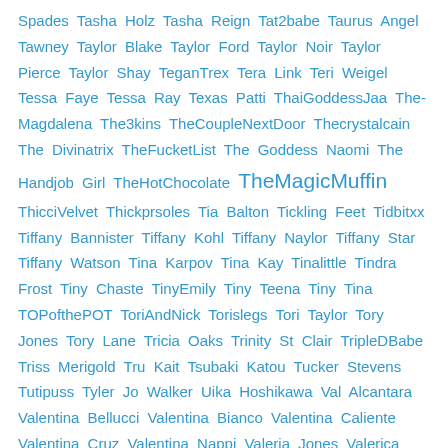Spades Tasha Holz Tasha Reign Tat2babe Taurus Angel Tawney Taylor Blake Taylor Ford Taylor Noir Taylor Pierce Taylor Shay TeganTrex Tera Link Teri Weigel Tessa Faye Tessa Ray Texas Patti ThaiGoddessJaa The-Magdalena The3kins TheCoupleNextDoor Thecrystalcain The Divinatrix TheFucketList The Goddess Naomi The Handjob Girl TheHotChocolate TheMagicMuffin ThicciVelvet Thickprsoles Tia Balton Tickling Feet Tidbitxx Tiffany Bannister Tiffany Kohl Tiffany Naylor Tiffany Star Tiffany Watson Tina Karpov Tina Kay Tinalittle Tindra Frost Tiny Chaste TinyEmily Tiny Teena Tiny Tina TOPofthePOT ToriAndNick Torislegs Tori Taylor Tory Jones Tory Lane Tricia Oaks Trinity St Clair TripleDBabe Triss Merigold Tru Kait Tsubaki Katou Tucker Stevens Tutipuss Tyler Jo Walker Uika Hoshikawa Val Alcantara Valentina Bellucci Valentina Bianco Valentina Caliente Valentina Cruz Valentina Nappi Valeria Jones Valerica Steele Valerie Ann Valerie Damiana ValhallasPet Vanessa Cage Vanessa Luna Vanessa Secret Vanessa Sierra Vanessa Sky Vanessa Vega Vanity Rose Vanna Bardot Vanya Vixen Velvet Foxx Velvet Skye Velvet Veronica Venom Evil Venus4adonis Venus Adonis Venus Vendetta Vera Bliss Vera King Veronica Avluv Veronica Marseille Veronica Rayne Veronica Valentine Veronica Vaughn Veronika Charm VeryNasty Vex Voltage Vickie Powell Vicki Vallencourt Vicky Vette Vicky Vixxx VicRico Victoria Daniels Victoria Gracen Victoria June Victoria Lobov Victoria Peter Victoria Quinn Victoria Summers Victoria Valentine Victoria Voxxx Vienna Black Vienna